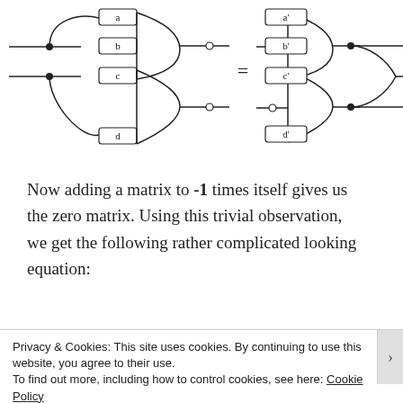[Figure (engineering-diagram): Two circuit/logic diagrams connected by an equals sign. Left diagram shows nodes a, b, c, d connected by curved lines with filled dots and open circles. Right diagram shows corresponding nodes a', b', c', d' in a mirrored arrangement. An equals sign sits between them.]
Now adding a matrix to -1 times itself gives us the zero matrix. Using this trivial observation, we get the following rather complicated looking equation:
[Figure (engineering-diagram): Partial view of a logic/circuit diagram showing nodes a' and b' with curved connections and a filled dot, partially visible at the bottom of the page.]
Privacy & Cookies: This site uses cookies. By continuing to use this website, you agree to their use.
To find out more, including how to control cookies, see here: Cookie Policy
Close and accept